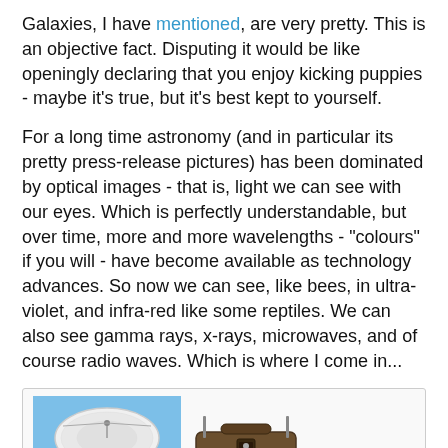Galaxies, I have mentioned, are very pretty. This is an objective fact. Disputing it would be like openingly declaring that you enjoy kicking puppies - maybe it's true, but it's best kept to yourself.
For a long time astronomy (and in particular its pretty press-release pictures) has been dominated by optical images - that is, light we can see with our eyes. Which is perfectly understandable, but over time, more and more wavelengths - "colours" if you will - have become available as technology advances. So now we can see, like bees, in ultra-violet, and infra-red like some reptiles. We can also see gamma rays, x-rays, microwaves, and of course radio waves. Which is where I come in...
[Figure (photo): Two images side by side inside a light grey bordered box: on the left, a large radio telescope dish (Lovell Telescope) against a blue sky; on the right, a vintage boombox/portable radio.]